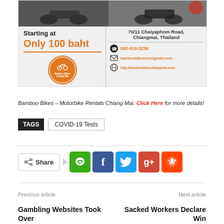[Figure (infographic): Bamboo Bikes Chiang Mai advertisement banner showing motorbikes photo, pricing starting at Only 100 baht, contact details including address 70/11 Chaiyaphom Road Chiangmai Thailand, phone 092-618-3239, email bamboobikescm@gmail.com, website http://bamboobikeschiangmai.com/, and circular orange Bamboo Bikes logo]
Bamboo Bikes – Motorbike Rentals Chiang Mai. Click Here for more details!
TAGS  COVID-19 Tests
[Figure (infographic): Social share buttons: Share button with arrow, followed by Line (green), Facebook (blue), Twitter (cyan), Google+ (red), Reddit (orange) social media icon buttons]
Previous article
Next article
Gambling Websites Took Over
Sacked Workers Declare Win